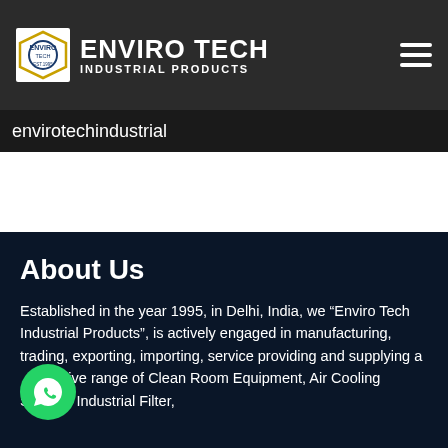ENVIRO TECH INDUSTRIAL PRODUCTS
envirotechindustrial
About Us
Established in the year 1995, in Delhi, India, we “Enviro Tech Industrial Products”, is actively engaged in manufacturing, trading, exporting, importing, service providing and supplying a comprehensive range of Clean Room Equipment, Air Cooling System, Industrial Filter,